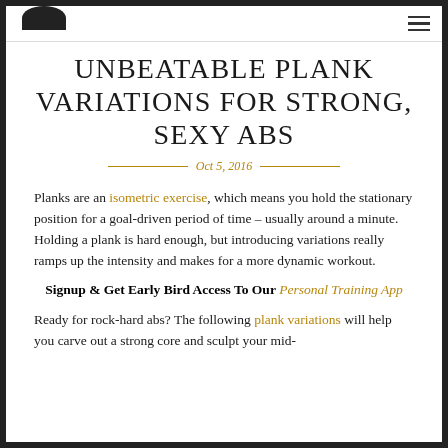UNBEATABLE PLANK VARIATIONS FOR STRONG, SEXY ABS
UNBEATABLE PLANK VARIATIONS FOR STRONG, SEXY ABS
Oct 5, 2016
Planks are an isometric exercise, which means you hold the stationary position for a goal-driven period of time – usually around a minute. Holding a plank is hard enough, but introducing variations really ramps up the intensity and makes for a more dynamic workout.
Signup & Get Early Bird Access To Our Personal Training App
Ready for rock-hard abs? The following plank variations will help you carve out a strong core and sculpt your mid-